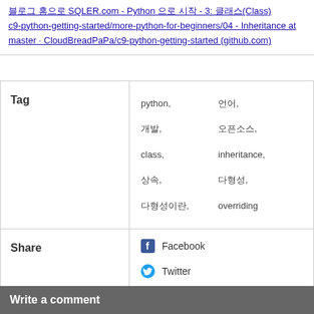SQLER.com - Python 으로 시작 - 3: 클래스(Class) c9-python-getting-started/more-python-for-beginners/04 - Inheritance at master · CloudBreadPaPa/c9-python-getting-started (github.com)
| Tag | python, 언어, 개발, 오픈소스, class, inheritance, 상속, 다형성, 다형성이란, overriding |
| --- | --- |
| Share | Facebook
Twitter
KakaoStory
LINE
Send Mail |
Write a comment